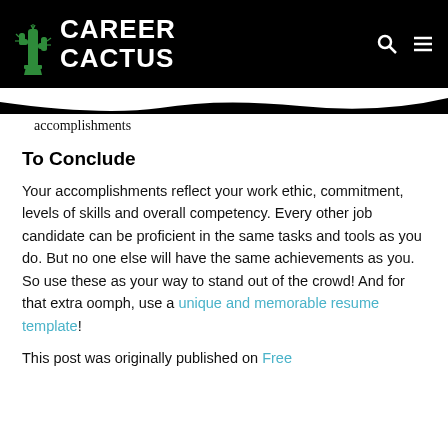CAREER CACTUS
accomplishments
To Conclude
Your accomplishments reflect your work ethic, commitment, levels of skills and overall competency. Every other job candidate can be proficient in the same tasks and tools as you do. But no one else will have the same achievements as you. So use these as your way to stand out of the crowd! And for that extra oomph, use a unique and memorable resume template!
This post was originally published on Free